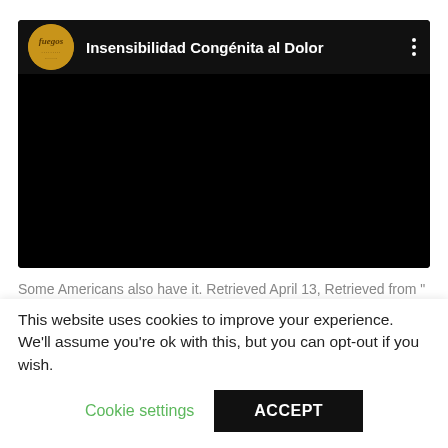[Figure (screenshot): Embedded video player with black background, showing channel logo and title 'Insensibilidad Congénita al Dolor' with three-dot menu icon]
Some Americans also have it. Retrieved April 13, Retrieved from " https: Diseases of ion channels. The opioid antagonist
This website uses cookies to improve your experience. We'll assume you're ok with this, but you can opt-out if you wish.
Cookie settings    ACCEPT